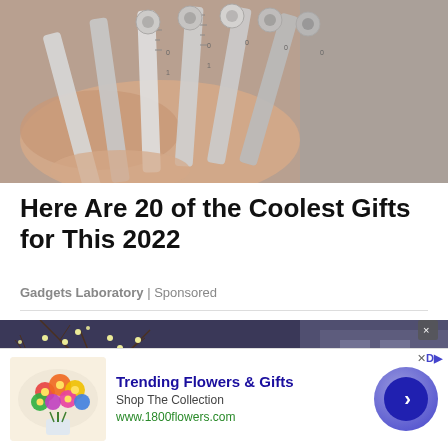[Figure (photo): Close-up of a hand holding multiple metal multi-tool wrenches with ruler markings]
Here Are 20 of the Coolest Gifts for This 2022
Gadgets Laboratory | Sponsored
[Figure (photo): Night scene of a building entrance decorated with bare tree branches and string lights against a dark blue-purple sky]
[Figure (infographic): Advertisement banner for Trending Flowers & Gifts - Shop The Collection - www.1800flowers.com with colorful flower bouquet image and navigation arrow button]